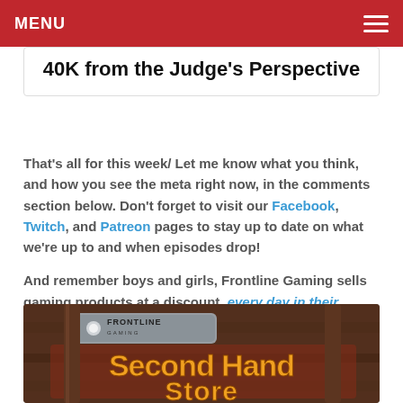MENU
40K from the Judge’s Perspective
That’s all for this week/ Let me know what you think, and how you see the meta right now, in the comments section below. Don't forget to visit our Facebook, Twitch, and Patreon pages to stay up to date on what we’re up to and when episodes drop!
And remember boys and girls, Frontline Gaming sells gaming products at a discount, every day in their webcart
[Figure (illustration): Frontline Gaming Second Hand Store promotional graphic with styled text on a wooden sign background]